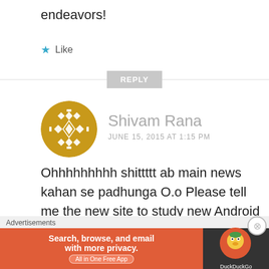endeavors!
★ Like
REPLY
[Figure (illustration): Golden geometric tile pattern avatar in a circle for user Shivam Rana]
Shivam Rana
JUNE 15, 2015 AT 1:15 PM
Ohhhhhhhhh shittttt ab main news kahan se padhunga O.o Please tell me the new site to study new Android blog
Advertisements
[Figure (infographic): DuckDuckGo advertisement banner: Search, browse, and email with more privacy. All in One Free App. Orange background with DuckDuckGo logo on dark right panel.]